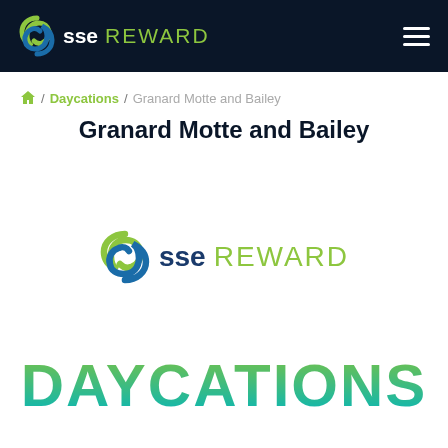SSE REWARD
🏠 / Daycations / Granard Motte and Bailey
Granard Motte and Bailey
[Figure (logo): SSE Reward logo with green/blue spiral icon, 'sse' in dark blue bold text, 'REWARD' in green text]
DAYCATIONS